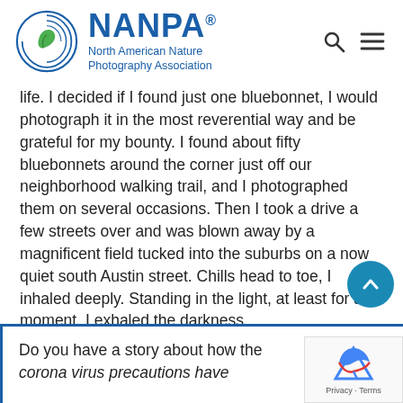[Figure (logo): NANPA - North American Nature Photography Association logo with circular swirl design and leaf icon]
life. I decided if I found just one bluebonnet, I would photograph it in the most reverential way and be grateful for my bounty. I found about fifty bluebonnets around the corner just off our neighborhood walking trail, and I photographed them on several occasions. Then I took a drive a few streets over and was blown away by a magnificent field tucked into the suburbs on a now quiet south Austin street. Chills head to toe, I inhaled deeply. Standing in the light, at least for a moment, I exhaled the darkness.
Do you have a story about how the corona virus precautions have